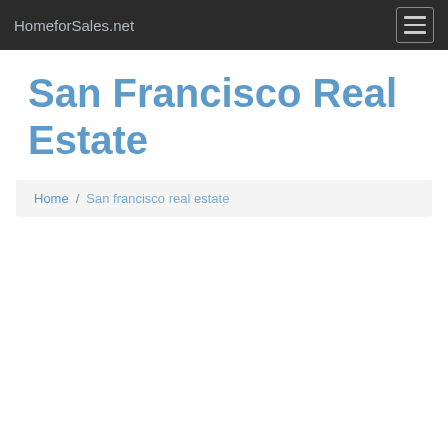HomeforSales.net
San Francisco Real Estate
Home / San francisco real estate